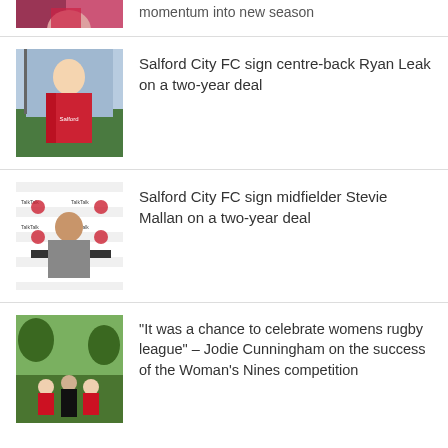[Figure (photo): Partial photo of a person in red sports kit, cropped at top]
momentum into new season
[Figure (photo): Photo of Ryan Leak in a red Salford City FC kit standing outdoors]
Salford City FC sign centre-back Ryan Leak on a two-year deal
[Figure (photo): Photo of Stevie Mallan signing documents at a table with TalkTalk branding in background]
Salford City FC sign midfielder Stevie Mallan on a two-year deal
[Figure (photo): Photo of women's rugby league players huddled together on a field]
“It was a chance to celebrate womens rugby league” – Jodie Cunningham on the success of the Woman’s Nines competition
NEW IN ENTERTAINMENT